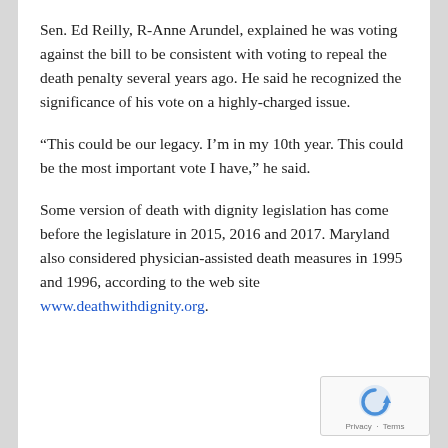Sen. Ed Reilly, R-Anne Arundel, explained he was voting against the bill to be consistent with voting to repeal the death penalty several years ago. He said he recognized the significance of his vote on a highly-charged issue.
“This could be our legacy. I’m in my 10th year. This could be the most important vote I have,” he said.
Some version of death with dignity legislation has come before the legislature in 2015, 2016 and 2017. Maryland also considered physician-assisted death measures in 1995 and 1996, according to the web site www.deathwithdignity.org.